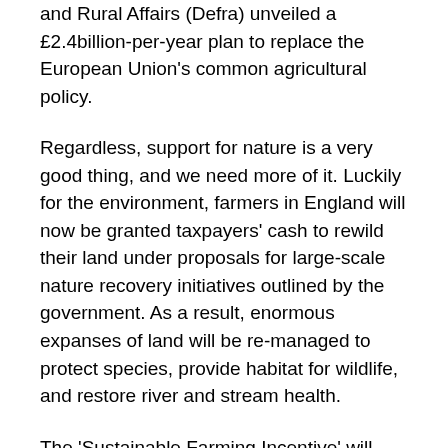and Rural Affairs (Defra) unveiled a £2.4billion-per-year plan to replace the European Union's common agricultural policy.
Regardless, support for nature is a very good thing, and we need more of it. Luckily for the environment, farmers in England will now be granted taxpayers' cash to rewild their land under proposals for large-scale nature recovery initiatives outlined by the government. As a result, enormous expanses of land will be re-managed to protect species, provide habitat for wildlife, and restore river and stream health.
The 'Sustainable Farming Incentive' will replace the EU's common agricultural policy that was worth more than £2.4billion a year. Under the EU's Common Agricultural Policy, farmers were given taxpayers' money from Brussels broadly based on